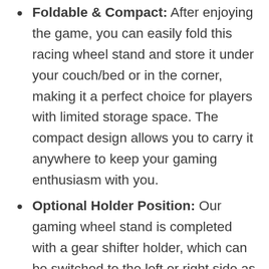Foldable & Compact: After enjoying the game, you can easily fold this racing wheel stand and store it under your couch/bed or in the corner, making it a perfect choice for players with limited storage space. The compact design allows you to carry it anywhere to keep your gaming enthusiasm with you.
Optional Holder Position: Our gaming wheel stand is completed with a gear shifter holder, which can be switched to the left or right side as you like. The optional position is